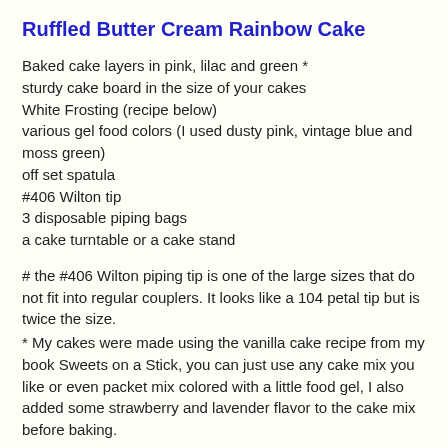Ruffled Butter Cream Rainbow Cake
Baked cake layers in pink, lilac and green *
sturdy cake board in the size of your cakes
White Frosting (recipe below)
various gel food colors (I used dusty pink, vintage blue and moss green)
off set spatula
#406 Wilton tip
3 disposable piping bags
a cake turntable or a cake stand
# the #406 Wilton piping tip is one of the large sizes that do not fit into regular couplers. It looks like a 104 petal tip but is twice the size.
* My cakes were made using the vanilla cake recipe from my book Sweets on a Stick, you can just use any cake mix you like or even packet mix colored with a little food gel, I also added some strawberry and lavender flavor to the cake mix before baking.